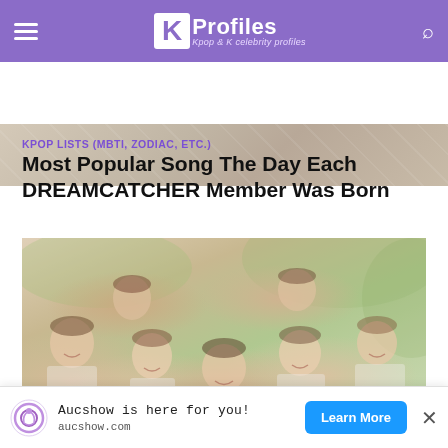KProfiles – Kpop & K celebrity profiles
[Figure (photo): Partial photo strip at top of page, showing a light background]
KPOP LISTS (MBTI, ZODIAC, ETC.)
Most Popular Song The Day Each DREAMCATCHER Member Was Born
[Figure (photo): Group photo of DREAMCATCHER members in school uniforms, smiling and posing together outdoors]
Aucshow is here for you! aucshow.com Learn More